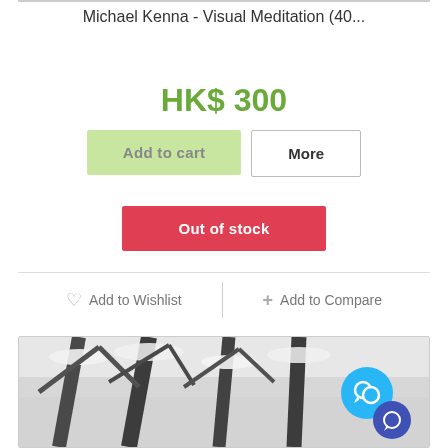Michael Kenna - Visual Meditation (40...
HK$ 300
Add to cart
More
Out of stock
♡ Add to Wishlist
+ Add to Compare
[Figure (photo): Black and white photograph of snow-covered trees with dark trunks, with a blue chat bubble icon overlay in the bottom right corner]